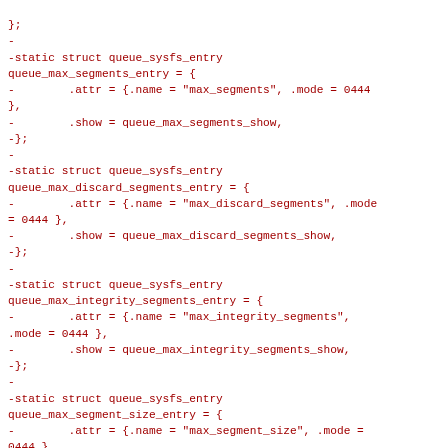};
-
-static struct queue_sysfs_entry queue_max_segments_entry = {
-        .attr = {.name = "max_segments", .mode = 0444 },
-        .show = queue_max_segments_show,
-};
-
-static struct queue_sysfs_entry queue_max_discard_segments_entry = {
-        .attr = {.name = "max_discard_segments", .mode = 0444 },
-        .show = queue_max_discard_segments_show,
-};
-
-static struct queue_sysfs_entry queue_max_integrity_segments_entry = {
-        .attr = {.name = "max_integrity_segments", .mode = 0444 },
-        .show = queue_max_integrity_segments_show,
-};
-
-static struct queue_sysfs_entry queue_max_segment_size_entry = {
-        .attr = {.name = "max_segment_size", .mode = 0444 },
-        .show = queue_max_segment_size_show,
-};
-
-static struct queue_sysfs_entry queue_iosched_entry =